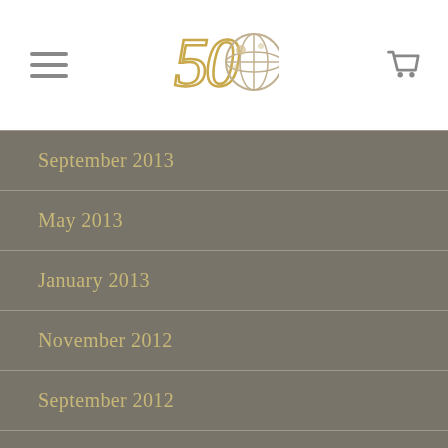50th Anniversary Logo
September 2013
May 2013
January 2013
November 2012
September 2012
July 2012
June 2012
April 2012